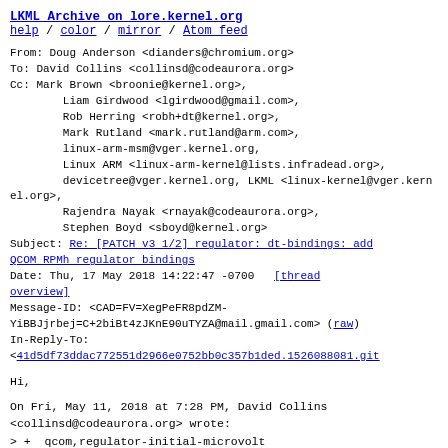LKML Archive on lore.kernel.org
help / color / mirror / Atom feed
From: Doug Anderson <dianders@chromium.org>
To: David Collins <collinsd@codeaurora.org>
Cc: Mark Brown <broonie@kernel.org>,
        Liam Girdwood <lgirdwood@gmail.com>,
        Rob Herring <robh+dt@kernel.org>,
        Mark Rutland <mark.rutland@arm.com>,
        linux-arm-msm@vger.kernel.org,
        Linux ARM <linux-arm-kernel@lists.infradead.org>,
        devicetree@vger.kernel.org, LKML <linux-kernel@vger.kernel.org>,
        Rajendra Nayak <rnayak@codeaurora.org>,
        Stephen Boyd <sboyd@kernel.org>
Subject: Re: [PATCH v3 1/2] regulator: dt-bindings: add QCOM RPMh regulator bindings
Date: Thu, 17 May 2018 14:22:47 -0700    [thread overview]
Message-ID: <CAD=FV=XegPeFR8pdZM-YiBBJjrbej=C+2biBt4zJKnE90uTYZA@mail.gmail.com> (raw)
In-Reply-To:
<41d5df73ddac772551d2966e0752bb0c357b1ded.1526088081.git
Hi,
On Fri, May 11, 2018 at 7:28 PM, David Collins
<collinsd@codeaurora.org> wrote:
> +  qcom,regulator-initial-microvolt